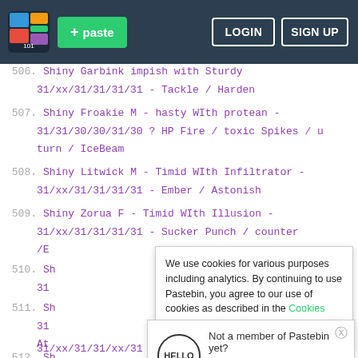Pastebin navigation bar with logo, + paste button, LOGIN and SIGN UP buttons
506. Shiny Garbink  impish with Sturdy
31/xx/31/31/31/31 - Tackle / Harden
507. Shiny Froakie  M  - hasty WIth protean
31/31/30/30/31/30 ? HP Fire / toxic Spikes / u turn / IceBeam
508. Shiny Litwick  M  - Timid WIth Infiltrator
31/xx/31/31/31/31 - Ember / Astonish
509. Shiny Zorua    F  - Timid WIth Illusion
31/xx/31/31/31/31 - Sucker Punch / counter /E
510. Sh
31
511. Sh
31
At
512. Sh
31/xx/31/31/xx/31 - Pursuit / Leer
We use cookies for various purposes including analytics. By continuing to use Pastebin, you agree to our use of cookies as described in the Cookies Policy.  OK, I Understand
Not a member of Pastebin yet?
Sign Up, it unlocks many cool features!